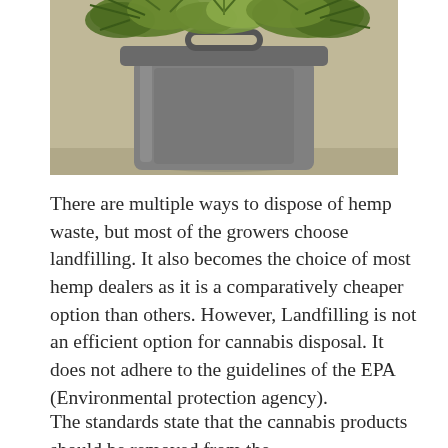[Figure (photo): A gray plastic trash/waste bin overflowing with green hemp or cannabis plant material at the top. The bin is photographed against a sandy/concrete outdoor background.]
There are multiple ways to dispose of hemp waste, but most of the growers choose landfilling. It also becomes the choice of most hemp dealers as it is a comparatively cheaper option than others. However, Landfilling is not an efficient option for cannabis disposal. It does not adhere to the guidelines of the EPA (Environmental protection agency).
The standards state that the cannabis products should be removed from the